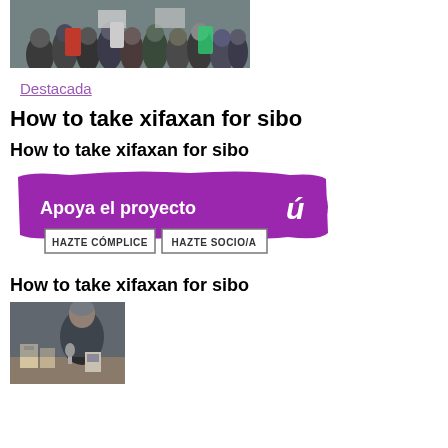[Figure (photo): Crowd of people at a public gathering or protest, outdoor scene]
Destacada
How to take xifaxan for sibo
How to take xifaxan for sibo
[Figure (infographic): Purple banner ad reading 'Apoya el proyecto' with two buttons: 'HAZTE CÓMPLICE' and 'HAZTE SOCIO/A']
How to take xifaxan for sibo
[Figure (photo): Person sitting at a table with books, appears to be at a book presentation or conference]